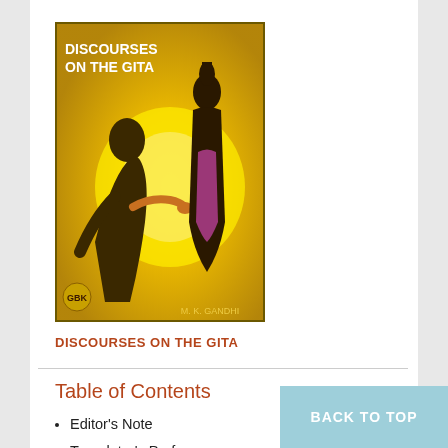[Figure (illustration): Book cover of 'Discourses on the Gita' by M. K. Gandhi. Yellow/orange background with silhouettes of two figures. Title text 'DISCOURSES ON THE GITA' in white at top left. Author 'M. K. GANDHI' at bottom.]
DISCOURSES ON THE GITA
Table of Contents
Editor's Note
Translator's Preface
Translator's Note
Chapter- I
Chapter- II
Chapter- III